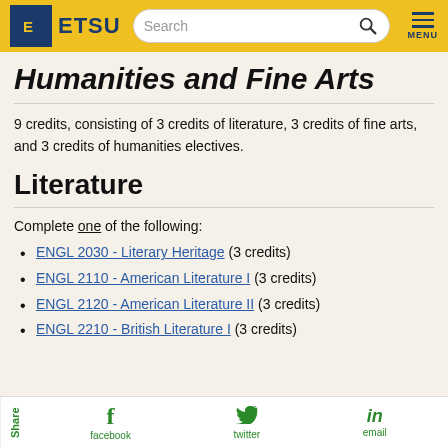ETSU — Search — MENU
Humanities and Fine Arts
9 credits, consisting of 3 credits of literature, 3 credits of fine arts, and 3 credits of humanities electives.
Literature
Complete one of the following:
ENGL 2030 - Literary Heritage (3 credits)
ENGL 2110 - American Literature I (3 credits)
ENGL 2120 - American Literature II (3 credits)
ENGL 2210 - British Literature I (3 credits)
Share — facebook — twitter — email